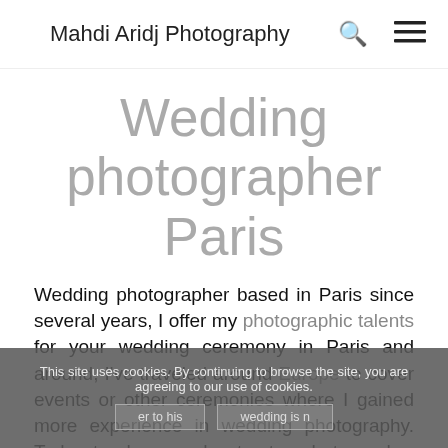Mahdi Aridj Photography
Wedding photographer Paris
Wedding photographer based in Paris since several years, I offer my photographic talents for your wedding ceremony in Paris and around, I've traveled around Europe to cover events or other ceremonies where I gained more experience in wedding photography. Today to chose and entrust a photographer to his wedding is not a simple
This site uses cookies. By continuing to browse the site, you are agreeing to our use of cookies.